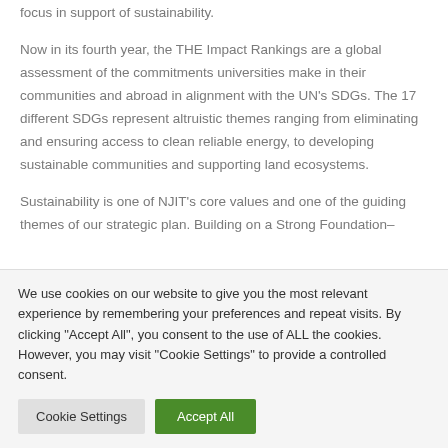focus in support of sustainability.
Now in its fourth year, the THE Impact Rankings are a global assessment of the commitments universities make in their communities and abroad in alignment with the UN's SDGs. The 17 different SDGs represent altruistic themes ranging from eliminating and ensuring access to clean reliable energy, to developing sustainable communities and supporting land ecosystems.
Sustainability is one of NJIT's core values and one of the guiding themes of our strategic plan. Building on a Strong Foundation–
We use cookies on our website to give you the most relevant experience by remembering your preferences and repeat visits. By clicking "Accept All", you consent to the use of ALL the cookies. However, you may visit "Cookie Settings" to provide a controlled consent.